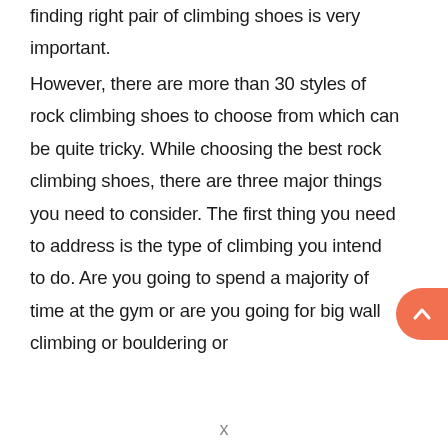finding right pair of climbing shoes is very important.
However, there are more than 30 styles of rock climbing shoes to choose from which can be quite tricky. While choosing the best rock climbing shoes, there are three major things you need to consider. The first thing you need to address is the type of climbing you intend to do. Are you going to spend a majority of time at the gym or are you going for big wall climbing or bouldering or